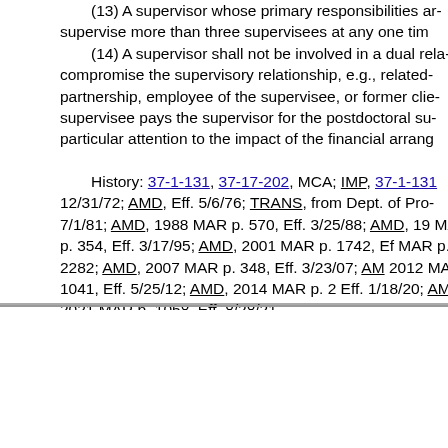(13) A supervisor whose primary responsibilities ar... supervise more than three supervisees at any one tim... (14) A supervisor shall not be involved in a dual rela... compromise the supervisory relationship, e.g., related... partnership, employee of the supervisee, or former clie... supervisee pays the supervisor for the postdoctoral su... particular attention to the impact of the financial arrang...
History: 37-1-131, 37-17-202, MCA; IMP, 37-1-131... 12/31/72; AMD, Eff. 5/6/76; TRANS, from Dept. of Pro... 7/1/81; AMD, 1988 MAR p. 570, Eff. 3/25/88; AMD, 19... MAR p. 354, Eff. 3/17/95; AMD, 2001 MAR p. 1742, Ef... MAR p. 2282; AMD, 2007 MAR p. 348, Eff. 3/23/07; AM... 2012 MAR p. 1041, Eff. 5/25/12; AMD, 2014 MAR p. 2... Eff. 1/18/20; AMD, 2021 MAR p. 1058, Eff. 8/28/21.
| MAR Notices | Effective From | Effective To |  |
| --- | --- | --- | --- |
| 24-189-42 | 8/28/2021 | Current | History: 37-1-131, 37-17-20... MCA; Eff. 12/31/72; AMD, Eff. 5/6... L. 1981, Eff. 7/1/81; AMD, 1988 M... 2/25/94; AMD, 1995 MAR p. 354,... TRANS, from Commerce, 2004 M... 2010 MAR p. 1508, Eff. 6/25/10; A... |